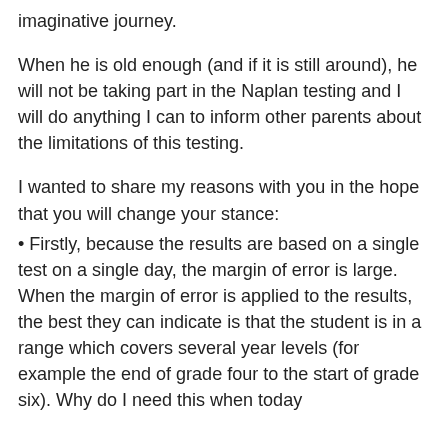imaginative journey.
When he is old enough (and if it is still around), he will not be taking part in the Naplan testing and I will do anything I can to inform other parents about the limitations of this testing.
I wanted to share my reasons with you in the hope that you will change your stance:
Firstly, because the results are based on a single test on a single day, the margin of error is large. When the margin of error is applied to the results, the best they can indicate is that the student is in a range which covers several year levels (for example the end of grade four to the start of grade six). Why do I need this when today